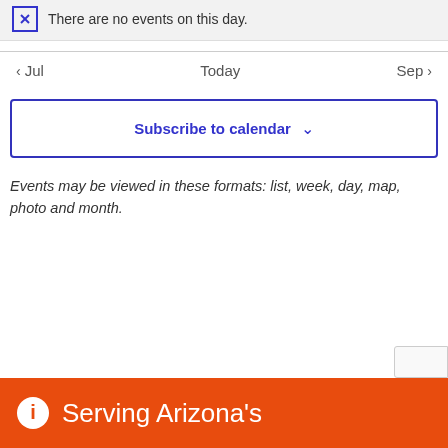There are no events on this day.
< Jul   Today   Sep >
Subscribe to calendar
Events may be viewed in these formats: list, week, day, map, photo and month.
Serving Arizona's